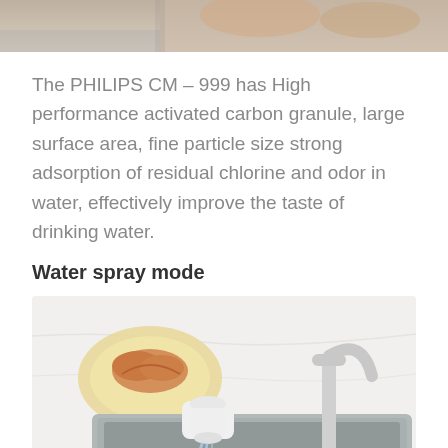[Figure (photo): Close-up photo of hands near a faucet or kitchen appliance, cropped at top of page]
The PHILIPS CM – 999 has High performance activated carbon granule, large surface area, fine particle size strong adsorption of residual chlorine and odor in water, effectively improve the taste of drinking water.
Water spray mode
[Figure (photo): Photo showing a white Philips water filter attached to a kitchen faucet over a sink, with water flowing, and a plate with bread visible in the background on a marble countertop]